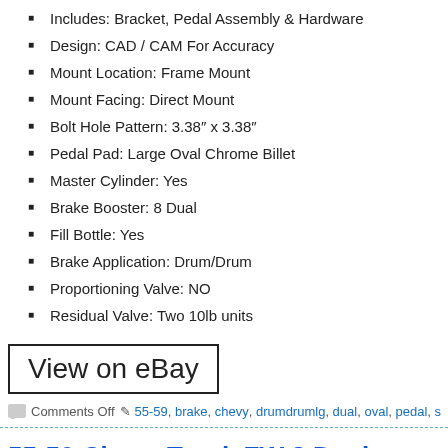Includes: Bracket, Pedal Assembly & Hardware
Design: CAD / CAM For Accuracy
Mount Location: Frame Mount
Mount Facing: Direct Mount
Bolt Hole Pattern: 3.38" x 3.38"
Pedal Pad: Large Oval Chrome Billet
Master Cylinder: Yes
Brake Booster: 8 Dual
Fill Bottle: Yes
Brake Application: Drum/Drum
Proportioning Valve: NO
Residual Valve: Two 10lb units
View on eBay
Comments Off  55-59, brake, chevy, drumdrumlg, dual, oval, pedal, s
55-59 Chevy Truck FW 8 Dual Brake Drum/Drum3in Chr Pad street rat
April 23, 2021  admin  55-59